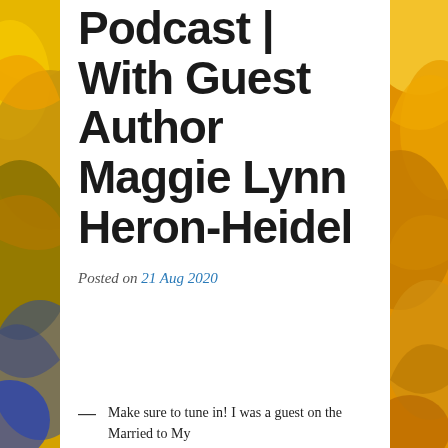[Figure (illustration): Colorful abstract painted background with yellow, orange, red and blue swirling brushstrokes, flanking the white content card on left and right sides.]
Podcast | With Guest Author Maggie Lynn Heron-Heidel
Posted on 21 Aug 2020
— Make sure to tune in! I was a guest on the Married to My...